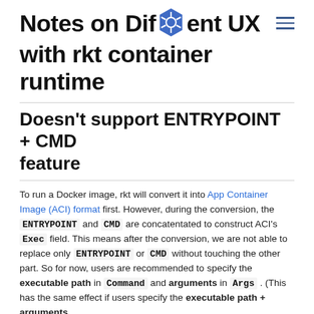Notes on Different UX with rkt container runtime
Doesn't support ENTRYPOINT + CMD feature
To run a Docker image, rkt will convert it into App Container Image (ACI) format first. However, during the conversion, the ENTRYPOINT and CMD are concatentated to construct ACI's Exec field. This means after the conversion, we are not able to replace only ENTRYPOINT or CMD without touching the other part. So for now, users are recommended to specify the executable path in Command and arguments in Args . (This has the same effect if users specify the executable path + arguments in Command only, etc.)